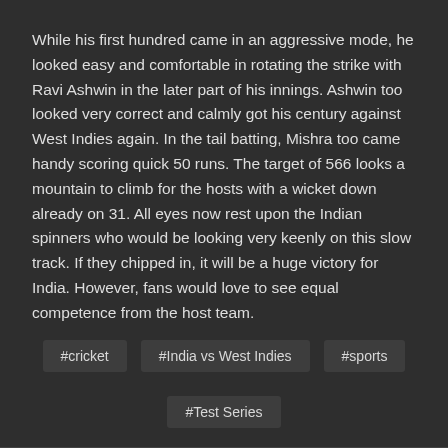While his first hundred came in an aggressive mode, he looked easy and comfortable in rotating the strike with Ravi Ashwin in the later part of his innings. Ashwin too looked very correct and calmly got his century against West Indies again. In the tail batting, Mishra too came handy scoring quick 50 runs. The target of 566 looks a mountain to climb for the hosts with a wicket down already on 31. All eyes now rest upon the Indian spinners who would be looking very keenly on this slow track. If they chipped in, it will be a huge victory for India. However, fans would love to see equal competence from the host team.
#cricket
#India vs West Indies
#sports
#Test Series